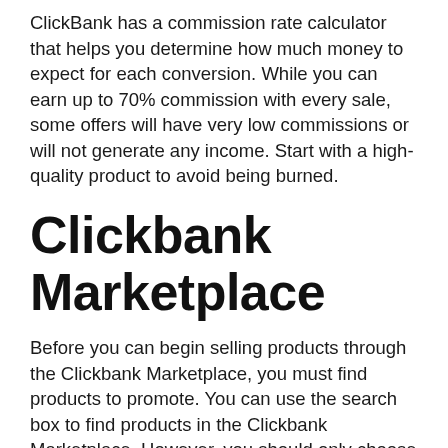ClickBank has a commission rate calculator that helps you determine how much money to expect for each conversion. While you can earn up to 70% commission with every sale, some offers will have very low commissions or will not generate any income. Start with a high-quality product to avoid being burned.
Clickbank Marketplace
Before you can begin selling products through the Clickbank Marketplace, you must find products to promote. You can use the search box to find products in the Clickbank Marketplace. However, you should only choose products that you are familiar with